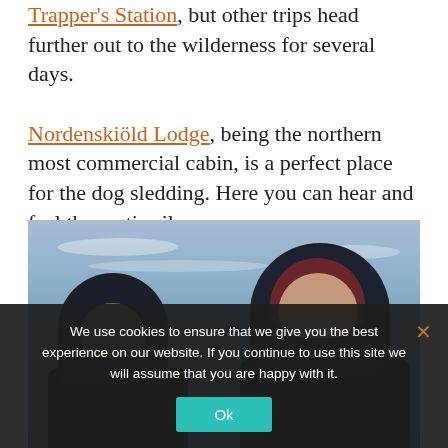Trapper's Station, but other trips head further out to the wilderness for several days. Nordenskiöld Lodge, being the northern most commercial cabin, is a perfect place for the dog sledding. Here you can hear and feel the arctic silence.
[Figure (photo): Two people wearing dark winter parkas with hoods pulled up, standing against a blue overcast arctic sky. The person on the right has their face visible.]
We use cookies to ensure that we give you the best experience on our website. If you continue to use this site we will assume that you are happy with it.